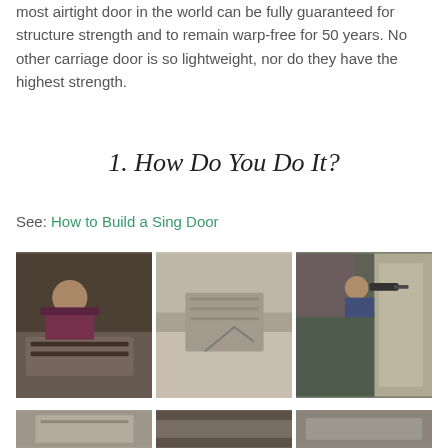most airtight door in the world can be fully guaranteed for structure strength and to remain warp-free for 50 years. No other carriage door is so lightweight, nor do they have the highest strength.
1. How Do You Do It?
See: How to Build a Sing Door
[Figure (photo): Three photos showing woodworking process: a person working on a door frame, a close-up of door joint/edge detail, and a person using a drill on a door edge]
[Figure (photo): Three more photos at bottom showing additional woodworking steps (partially visible)]